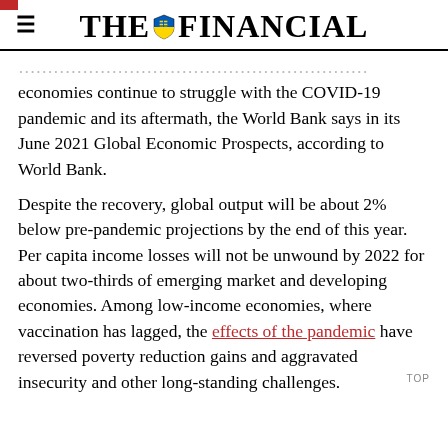THE FINANCIAL
economies continue to struggle with the COVID-19 pandemic and its aftermath, the World Bank says in its June 2021 Global Economic Prospects, according to World Bank.
Despite the recovery, global output will be about 2% below pre-pandemic projections by the end of this year. Per capita income losses will not be unwound by 2022 for about two-thirds of emerging market and developing economies. Among low-income economies, where vaccination has lagged, the effects of the pandemic have reversed poverty reduction gains and aggravated insecurity and other long-standing challenges.